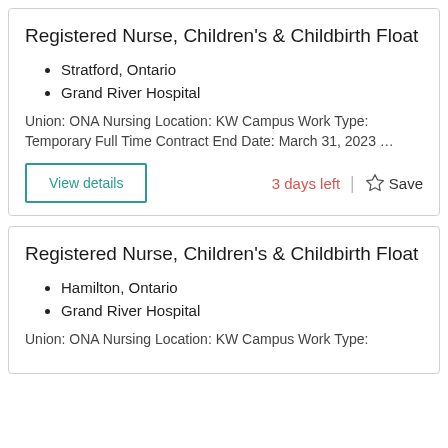Registered Nurse, Children's & Childbirth Float
Stratford, Ontario
Grand River Hospital
Union: ONA Nursing Location: KW Campus Work Type: Temporary Full Time Contract End Date: March 31, 2023 …
View details
3 days left
Save
Registered Nurse, Children's & Childbirth Float
Hamilton, Ontario
Grand River Hospital
Union: ONA Nursing Location: KW Campus Work Type: